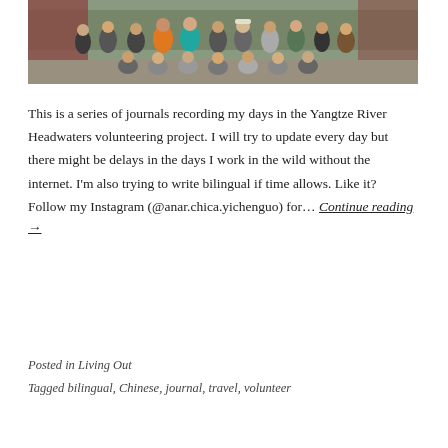[Figure (photo): Group photo of volunteers standing and sitting in front of a red building on gravel ground with some greenery in background]
This is a series of journals recording my days in the Yangtze River Headwaters volunteering project. I will try to update every day but there might be delays in the days I work in the wild without the internet. I'm also trying to write bilingual if time allows. Like it? Follow my Instagram (@anar.chica.yichenguo) for… Continue reading →
Posted in Living Out
Tagged bilingual, Chinese, journal, travel, volunteer